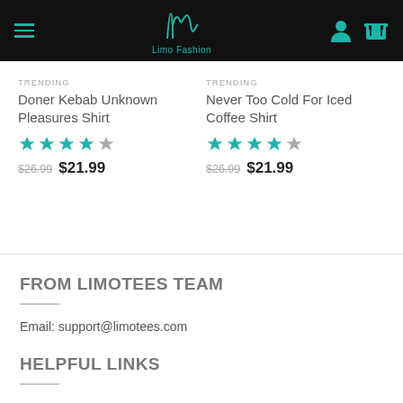[Figure (screenshot): Limo Fashion website header with hamburger menu, teal logo, user icon and cart icon on black background]
TRENDING
Doner Kebab Unknown Pleasures Shirt
★★★★★
$26.99  $21.99
TRENDING
Never Too Cold For Iced Coffee Shirt
★★★★★
$26.99  $21.99
FROM LIMOTEES TEAM
Email: support@limotees.com
HELPFUL LINKS